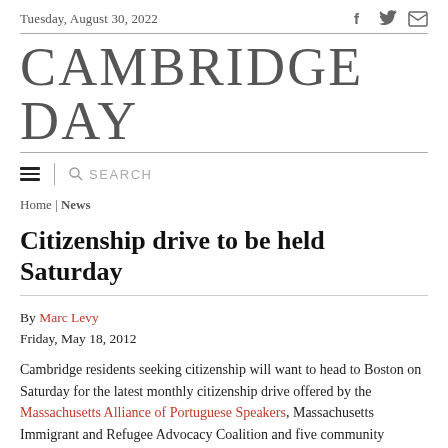Tuesday, August 30, 2022
CAMBRIDGE DAY
Home | News
Citizenship drive to be held Saturday
By Marc Levy
Friday, May 18, 2012
Cambridge residents seeking citizenship will want to head to Boston on Saturday for the latest monthly citizenship drive offered by the Massachusetts Alliance of Portuguese Speakers, Massachusetts Immigrant and Refugee Advocacy Coalition and five community partners. The drive is to held from 11 a.m.